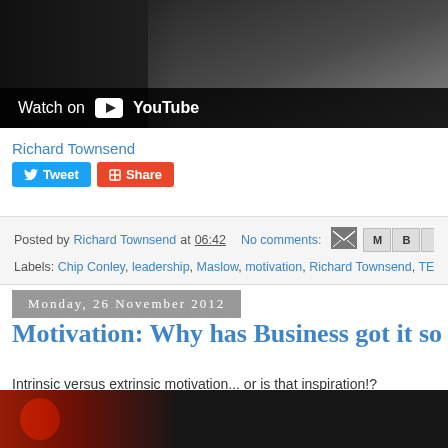[Figure (screenshot): YouTube video thumbnail showing a person in dark clothing with 'Watch on YouTube' overlay text and play button icon]
Richard Townsend
Tweet  Share
Posted by Richard Townsend at 06:42   No comments:
Labels: Chip Conley, leadership, Maslow, motivation, Richard Townsend, TED Tal...
Monday, 26 November 2012
Motivation: Why has Business got it so W...
Intrinsic versus extrinsic motivation... or is that inspiration!?
[Figure (screenshot): Bottom portion of a video thumbnail showing a red shape against dark background]